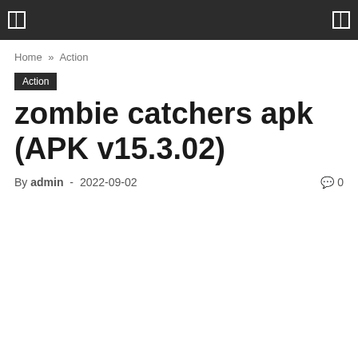[ ]  [ ]
Home » Action
Action
zombie catchers apk (APK v15.3.02)
By admin - 2022-09-02  0